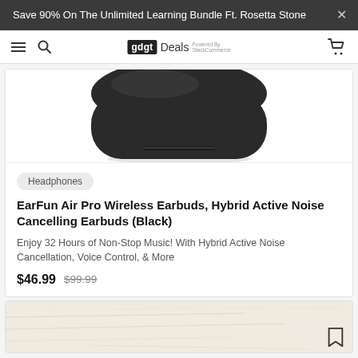Save 90% On The Unlimited Learning Bundle Ft. Rosetta Stone
[Figure (screenshot): gdgt Deals navigation bar with hamburger menu, search icon, gdgt Deals logo, and cart icon]
[Figure (photo): EarFun Air Pro wireless earbuds charging case in black, shown from front/top angle, rounded rectangular shape with a small ridge on the front]
Headphones
EarFun Air Pro Wireless Earbuds, Hybrid Active Noise Cancelling Earbuds (Black)
Enjoy 32 Hours of Non-Stop Music! With Hybrid Active Noise Cancellation, Voice Control, & More
$46.99  $99.99
[Figure (photo): Partially visible second product card with a light wood texture background]